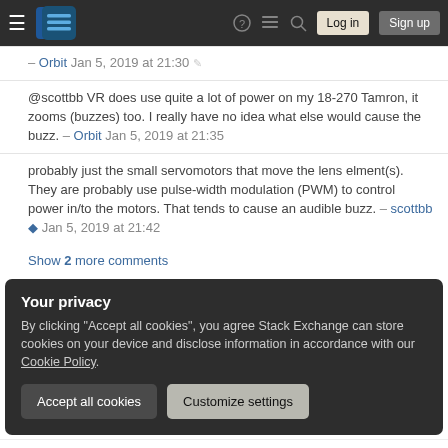Stack Exchange navigation bar with hamburger menu, logo, help, chat, search, Log in, Sign up buttons
@scottbb VR does use quite a lot of power on my 18-270 Tamron, it zooms (buzzes) too. I really have no idea what else would cause the buzz. – Orbit Jan 5, 2019 at 21:35
probably just the small servomotors that move the lens elment(s). They are probably use pulse-width modulation (PWM) to control power in/to the motors. That tends to cause an audible buzz. – scottbb ◆ Jan 5, 2019 at 21:42
Show 2 more comments
Your privacy
By clicking "Accept all cookies", you agree Stack Exchange can store cookies on your device and disclose information in accordance with our Cookie Policy.
Accept all cookies
Customize settings
battery power.